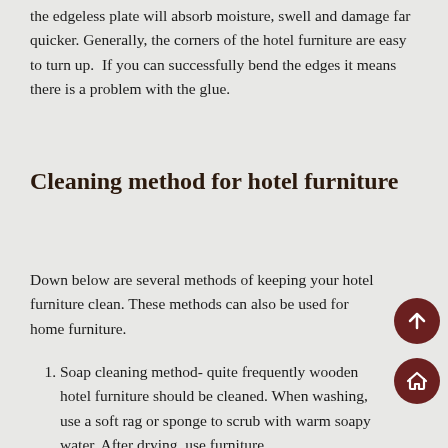the edgeless plate will absorb moisture, swell and damage far quicker. Generally, the corners of the hotel furniture are easy to turn up. If you can successfully bend the edges it means there is a problem with the glue.
Cleaning method for hotel furniture
Down below are several methods of keeping your hotel furniture clean. These methods can also be used for home furniture.
Soap cleaning method- quite frequently wooden hotel furniture should be cleaned. When washing, use a soft rag or sponge to scrub with warm soapy water. After drying, use furniture ...